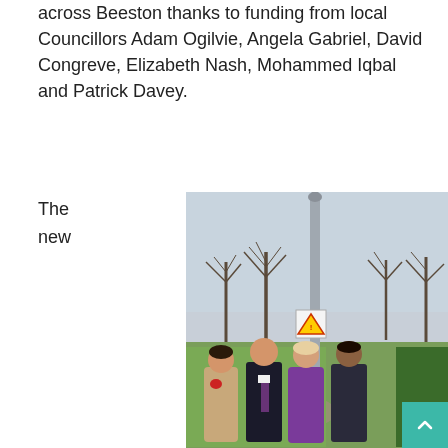across Beeston thanks to funding from local Councillors Adam Ogilvie, Angela Gabriel, David Congreve, Elizabeth Nash, Mohammed Iqbal and Patrick Davey.
The
new
[Figure (photo): Four people standing outdoors next to a tall grey lamp post in a park. Bare trees are visible in the background. From left to right: a woman in a beige coat with a red accessory, a man in a dark suit with a striped tie, a woman in a purple coat, and a man in a dark jacket. A warning road sign is visible on the post.]